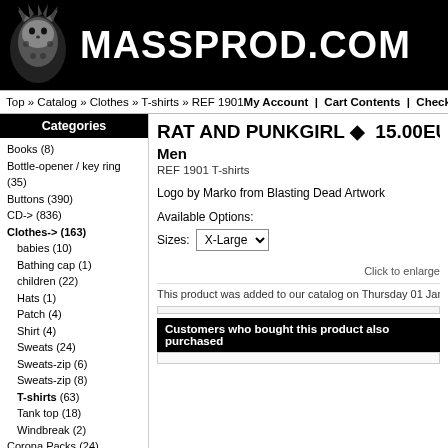MASSPROD.COM
Top » Catalog » Clothes » T-shirts » REF 1901    My Account  |  Cart Contents  |  Checkout
Categories
Books (8)
Bottle-opener / key ring (35)
Buttons (390)
CD-> (836)
Clothes-> (163)
babies (10)
Bathing cap (1)
children (22)
Hats (1)
Patch (4)
Shirt (4)
Sweats (24)
Sweats-zip (6)
Sweats-zip (8)
T-shirts (63)
Tank top (18)
Windbreak (2)
Corona Packs (24)
Fanzine-> (9)
Membership (1)
Movies-> (13)
PROMOS
Tape (1)
RAT AND PUNKGIRL ◆ 15.00EU
Men
REF 1901 T-shirts
Logo by Marko from Blasting Dead Artwork
Available Options:
Sizes: X-Large
Click to enlarge
This product was added to our catalog on Thursday 01 January, 197
Customers who bought this product also purchased